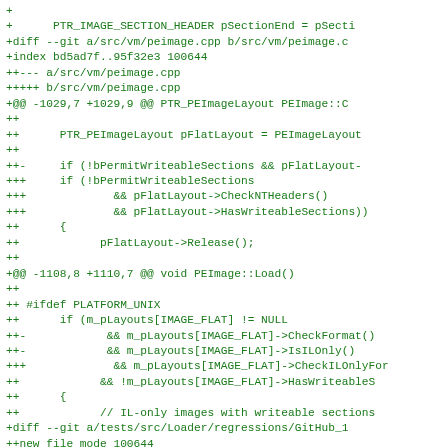Git diff patch showing changes to peimage.cpp and related test files, including modifications to PTR_IMAGE_SECTION_HEADER, PTR_PEImageLayout, bPermitWriteableSections checks, PLATFORM_UNIX #ifdef block, and m_pLayouts[IMAGE_FLAT] conditions.